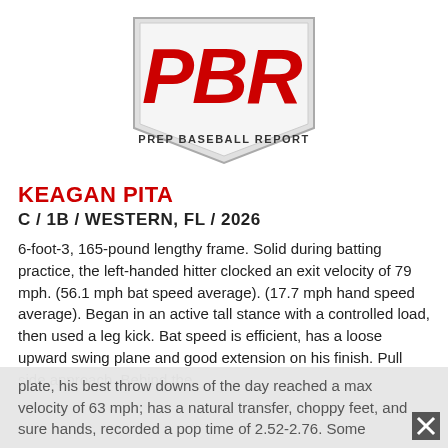[Figure (logo): PBR Prep Baseball Report logo — red bold letters PBR on a grey home-plate shape with 'PREP BASEBALL REPORT' text below]
KEAGAN PITA
C / 1B / WESTERN, FL / 2026
6-foot-3, 165-pound lengthy frame. Solid during batting practice, the left-handed hitter clocked an exit velocity of 79 mph. (56.1 mph bat speed average). (17.7 mph hand speed average). Began in an active tall stance with a controlled load, then used a leg kick. Bat speed is efficient, has a loose upward swing plane and good extension on his finish. Pull side approach. Behind the plate, his best throw downs of the day reached a max velocity of 63 mph; has a natural transfer, choppy feet, and sure hands, recorded a pop time of 2.52-2.76. Some